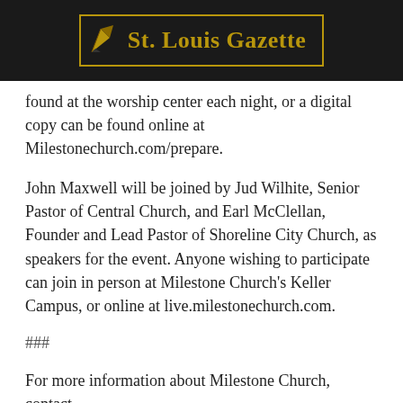[Figure (logo): St. Louis Gazette newspaper logo with golden pen icon and old-english style text in a gold-bordered box on dark background]
found at the worship center each night, or a digital copy can be found online at Milestonechurch.com/prepare.
John Maxwell will be joined by Jud Wilhite, Senior Pastor of Central Church, and Earl McClellan, Founder and Lead Pastor of Shoreline City Church, as speakers for the event. Anyone wishing to participate can join in person at Milestone Church's Keller Campus, or online at live.milestonechurch.com.
###
For more information about Milestone Church, contact